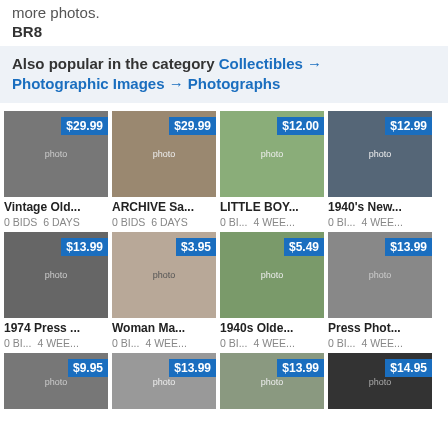more photos.
BR8
Also popular in the category Collectibles → Photographic Images → Photographs
[Figure (photo): Vintage Old... photo thumbnail, $29.99]
[Figure (photo): ARCHIVE Sa... photo thumbnail, $29.99]
[Figure (photo): LITTLE BOY... photo thumbnail, $12.00]
[Figure (photo): 1940's New... photo thumbnail, $12.99]
[Figure (photo): 1974 Press ... photo thumbnail, $13.99]
[Figure (photo): Woman Ma... photo thumbnail, $3.95]
[Figure (photo): 1940s Olde... photo thumbnail, $5.49]
[Figure (photo): Press Phot... photo thumbnail, $13.99]
[Figure (photo): Row 3 item 1, $9.95]
[Figure (photo): Row 3 item 2, $13.99]
[Figure (photo): Row 3 item 3, $13.99]
[Figure (photo): Row 3 item 4, $14.95]